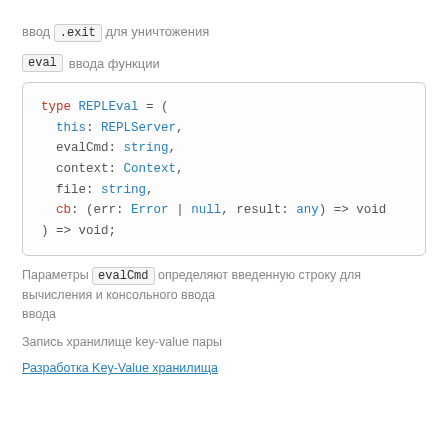ввод .exit дляуничтожения
eval ввода функции
[Figure (screenshot): Code block showing TypeScript type definition: type REPLEval = ( this: REPLServer, evalCmd: string, context: Context, file: string, cb: (err: Error | null, result: any) => void ) => void;]
Параметры evalCmd определяют введенную строку для вычисления и консольного ввода
Запись хранилище key-value пары
Разработка Key-Value хранилища